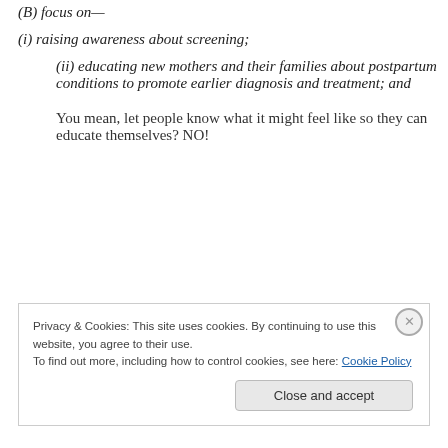(B) focus on—
(i) raising awareness about screening;
(ii) educating new mothers and their families about postpartum conditions to promote earlier diagnosis and treatment; and
You mean, let people know what it might feel like so they can educate themselves? NO!
Privacy & Cookies: This site uses cookies. By continuing to use this website, you agree to their use.
To find out more, including how to control cookies, see here: Cookie Policy